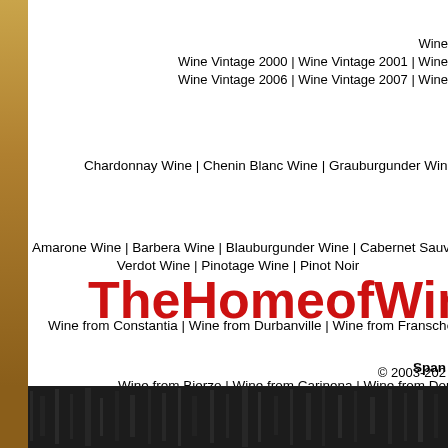Wine Vintage 2000 | Wine Vintage 2001 | Wine Vintage 2006 | Wine Vintage 2007 | Wine...
Chardonnay Wine | Chenin Blanc Wine | Grauburgunder Wine | Gewürztraminer Wine...
Amarone Wine | Barbera Wine | Blauburgunder Wine | Cabernet Sauvignon Wine | Caber... Verdot Wine | Pinotage Wine | Pinot Noir...
Wine from Constantia | Wine from Durbanville | Wine from Franschoek | Wine from Paarl...
Spain
Wine from Bierzo | Wine from Carinena | Wine from Douro | Wine from Montsant |...
Wine from Kalifornien | Wine from...
TheHomeofWine.co
© 2003-202...